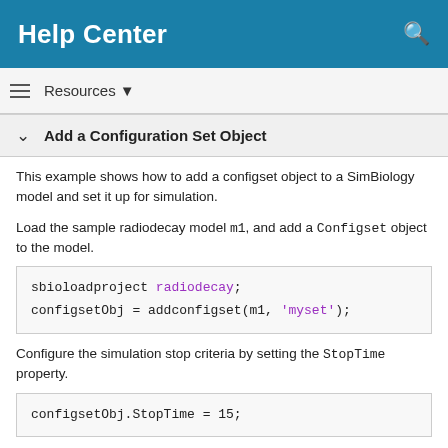Help Center
Add a Configuration Set Object
This example shows how to add a configset object to a SimBiology model and set it up for simulation.
Load the sample radiodecay model m1, and add a Configset object to the model.
Configure the simulation stop criteria by setting the StopTime property.
Set the configset object to be active so that its settings are used during simulation.